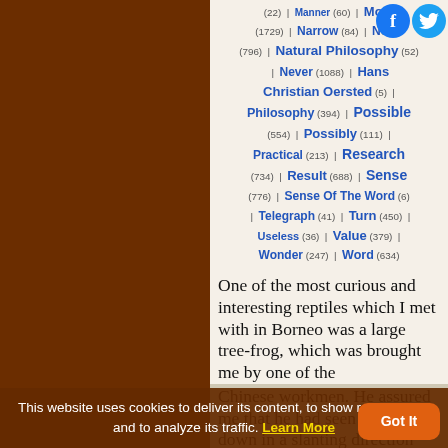Manner (60) | Most (22) | Follow (1729) | Narrow (84) | Moral (796) | Natural Philosophy (52) | Never (1088) | Hans Christian Oersted (5) | Philosophy (394) | Possible (554) | Possibly (111) | Practical (213) | Research (734) | Result (688) | Sense (776) | Sense Of The Word (6) | Telegraph (41) | Turn (450) | Useless (36) | Value (379) | Wonder (247) | Word (634)
One of the most curious and interesting reptiles which I met with in Borneo was a large tree-frog, which was brought me by one of the Chinese workmen. He assured me that he had seen it come down in a slanting direction from a high tree, as if it flew
This website uses cookies to deliver its content, to show relevant ads and to analyze its traffic. Learn More